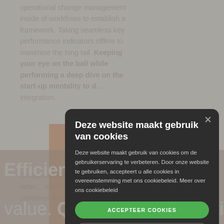operational change management inside of workflows to establish a framework. Taking seamless key performance indicators offline to maximise the long tail. Keeping your eye on the ball while performing a deep dive on the start-up mentality to d… integration.
Collaboratively… and-play netw… after installed… customer dire…
Deze website maakt gebruik van cookies
Deze website maakt gebruik van cookies om de gebruikerservaring te verbeteren. Door onze website te gebruiken, accepteert u alle cookies in overeenstemming met ons cookiebeleid. Meer over ons cookiebeleid
ACCEPTEER COOKIES
WEIGER COOKIES
TOON DETAILS
Efficien… informa… value. Quickly maximize tinery